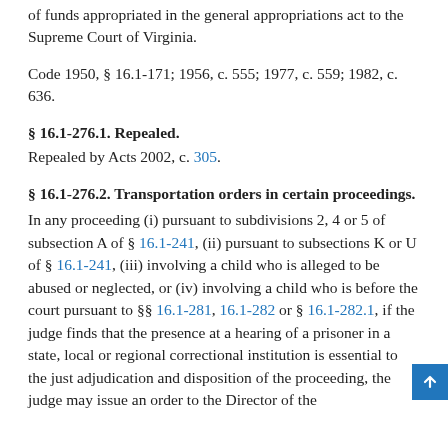of funds appropriated in the general appropriations act to the Supreme Court of Virginia.
Code 1950, § 16.1-171; 1956, c. 555; 1977, c. 559; 1982, c. 636.
§ 16.1-276.1. Repealed.
Repealed by Acts 2002, c. 305.
§ 16.1-276.2. Transportation orders in certain proceedings.
In any proceeding (i) pursuant to subdivisions 2, 4 or 5 of subsection A of § 16.1-241, (ii) pursuant to subsections K or U of § 16.1-241, (iii) involving a child who is alleged to be abused or neglected, or (iv) involving a child who is before the court pursuant to §§ 16.1-281, 16.1-282 or § 16.1-282.1, if the judge finds that the presence at a hearing of a prisoner in a state, local or regional correctional institution is essential to the just adjudication and disposition of the proceeding, the judge may issue an order to the Director of the